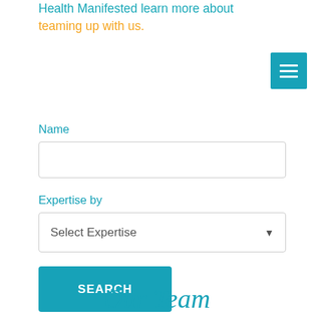Health Manifested learn more about teaming up with us.
[Figure (other): Hamburger menu button icon with three white horizontal lines on teal/cyan background]
Name
[Figure (other): Empty text input field]
Expertise by
[Figure (other): Dropdown select field with placeholder text 'Select Expertise' and dropdown arrow]
[Figure (other): Teal SEARCH button]
Our Team